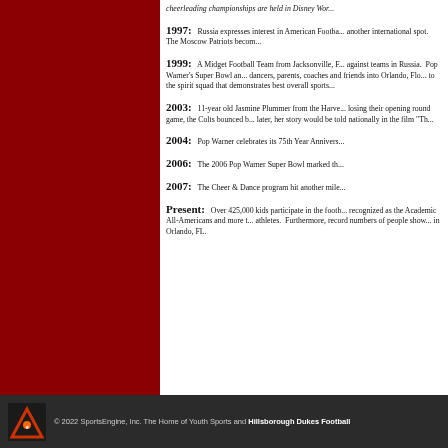cheerleading championships are held in Disney World.
1997: Russia expresses interest in American Football as another international spot. The Moscow Patriots beco...
1999: A Midget Football Team from Jacksonville, FL plays against teams in Russia. Pop Warner's Super Bowl and dancers, parents, coaches and friends into Orlando, Flo... to the spirit squad that demonstrates best overall sports...
2003: 11-year old Jasmine Plummer from the Harve... losing their opening round game, the Colts bounced ba... later, her story would be told nationally in the film "Th...
2004: Pop Warner celebrates its 75th Year Annivers...
2006: The 2006 Pop Warner Super Bowl marked th...
2007: The Cheer & Dance program hit another mile...
Present: Over 425,000 kids participate in the footb... recognized as the Academic All-Americans and more t... athletes. Furthermore, record numbers of people show... in Orlando, FL.
© 2022 SportsEngine, Inc. The Home of Youth Sports and Hillsborough Dukes Football